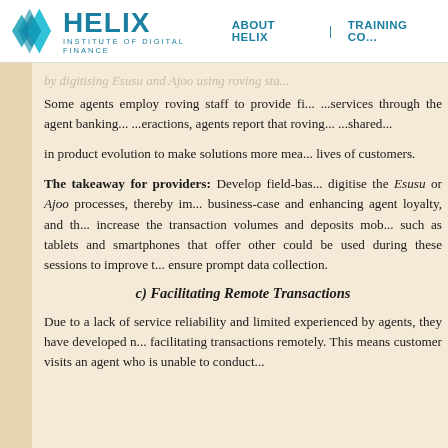HELIX INSTITUTE OF DIGITAL FINANCE | ABOUT HELIX | TRAINING CO...
by digitising Esusu and Ajoo using roving sta...
Some agents employ roving staff to provide... in product evolution to make solutions more mea... lives of customers.
The takeaway for providers: Develop field-bas... digitise the Esusu or Ajoo processes, thereby im... business-case and enhancing agent loyalty, and th... increase the transaction volumes and deposits mob... such as tablets and smartphones that offer other... could be used during these sessions to improve t... ensure prompt data collection.
c) Facilitating Remote Transactions
Due to a lack of service reliability and limited... experienced by agents, they have developed n... facilitating transactions remotely. This means... customer visits an agent who is unable to conduct...